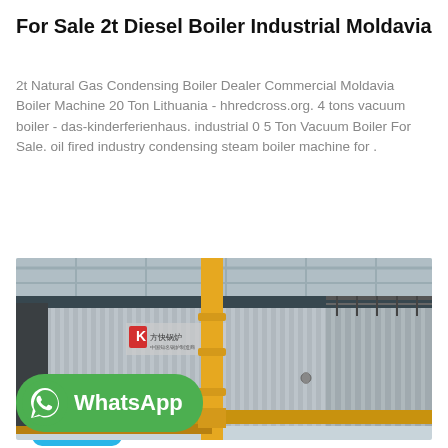For Sale 2t Diesel Boiler Industrial Moldavia
2t Natural Gas Condensing Boiler Dealer Commercial Moldavia Boiler Machine 20 Ton Lithuania - hhredcross.org. 4 tons vacuum boiler - das-kinderferienhaus. industrial 0 5 Ton Vacuum Boiler For Sale. oil fired industry condensing steam boiler machine for .
[Figure (photo): Industrial diesel boiler unit in a factory setting, large silver corrugated metal casing with yellow gas pipes in the foreground, with a Chinese manufacturer logo on the unit. WhatsApp button overlay in the bottom left corner.]